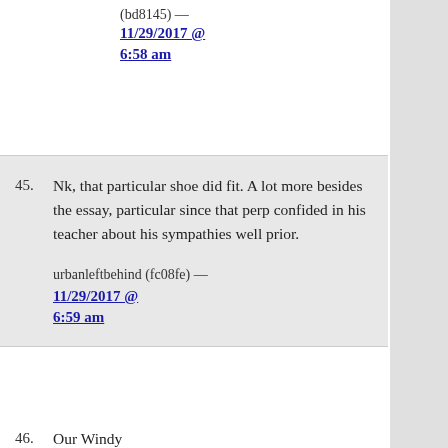(bd8145) —
11/29/2017 @ 6:58 am
45. Nk, that particular shoe did fit. A lot more besides the essay, particular since that perp confided in his teacher about his sympathies well prior.

urbanleftbehind (fc08fe) — 11/29/2017 @ 6:59 am
46. Our Windy